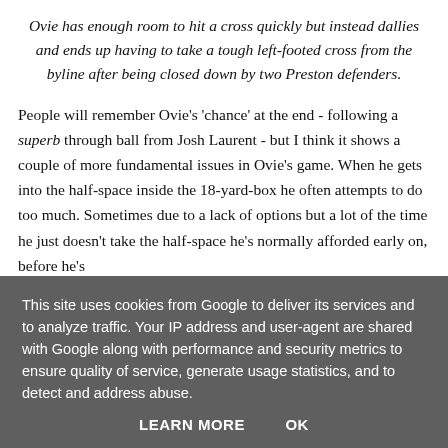Ovie has enough room to hit a cross quickly but instead dallies and ends up having to take a tough left-footed cross from the byline after being closed down by two Preston defenders.
People will remember Ovie's 'chance' at the end - following a superb through ball from Josh Laurent - but I think it shows a couple of more fundamental issues in Ovie's game. When he gets into the half-space inside the 18-yard-box he often attempts to do too much. Sometimes due to a lack of options but a lot of the time he just doesn't take the half-space he's normally afforded early on, before he's
This site uses cookies from Google to deliver its services and to analyze traffic. Your IP address and user-agent are shared with Google along with performance and security metrics to ensure quality of service, generate usage statistics, and to detect and address abuse.
LEARN MORE   OK